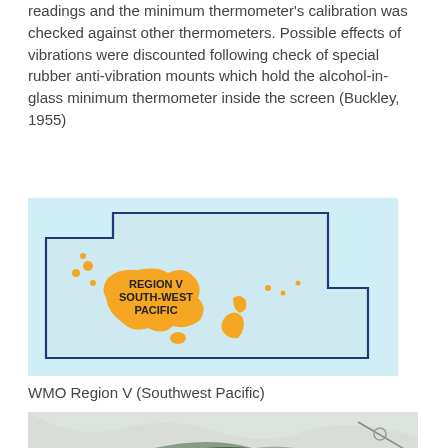readings and the minimum thermometer's calibration was checked against other thermometers. Possible effects of vibrations were discounted following check of special rubber anti-vibration mounts which hold the alcohol-in-glass minimum thermometer inside the screen (Buckley, 1955)
[Figure (map): Map of WMO Region V South-West Pacific, showing a light blue irregular polygon outline with orange-shaded landmasses (Australia, New Zealand, Pacific islands) and a label reading REGION V SOUTH-WEST PACIFIC.]
WMO Region V (Southwest Pacific)
[Figure (photo): Aerial or satellite photograph showing snow-covered mountain terrain with dark green forest patches and rocky ridges, possibly a weather station site.]